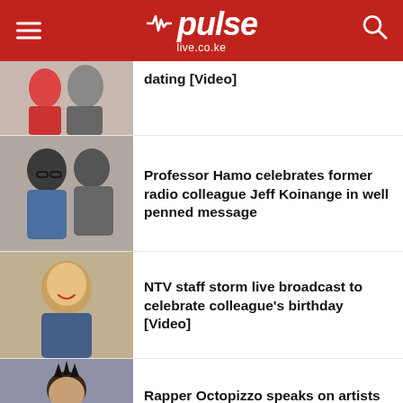pulse live.co.ke
dating [Video]
Professor Hamo celebrates former radio colleague Jeff Koinange in well penned message
NTV staff storm live broadcast to celebrate colleague's birthday [Video]
Rapper Octopizzo speaks on artists doing online dance challenges